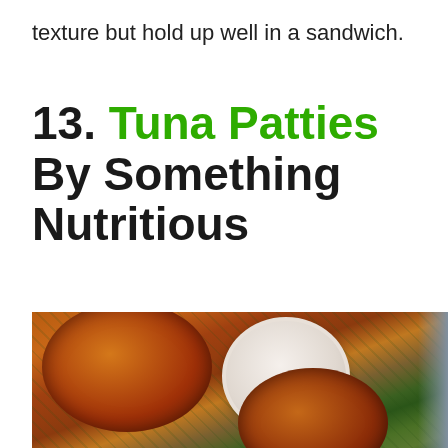texture but hold up well in a sandwich.
13. Tuna Patties By Something Nutritious
[Figure (photo): Overhead photo of golden-brown tuna patties on a bed of leafy greens with a round white bowl of creamy dipping sauce in the center]